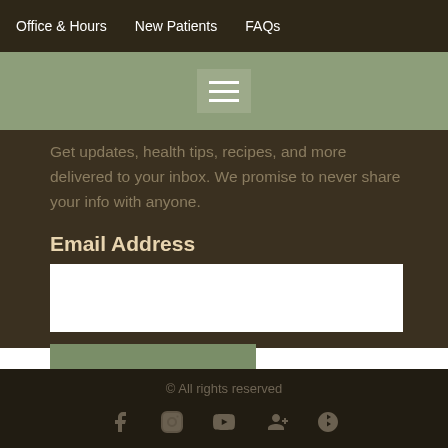Office & Hours   New Patients   FAQs
[Figure (screenshot): Hamburger menu button icon with three horizontal white lines on a gray-green background]
Get updates, health tips, recipes, and more delivered to your inbox. We promise to never share your info with anyone.
Email Address
Subscribe
© All rights reserved
[Figure (infographic): Social media icons row: Facebook, Instagram, YouTube, Google+, Yelp]